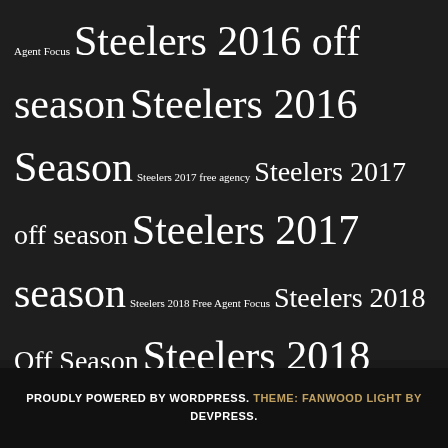Agent Focus Steelers 2016 off season Steelers 2016 Season Steelers 2017 free agency Steelers 2017 off season Steelers 2017 season Steelers 2018 Free Agent Focus Steelers 2018 Off Season Steelers 2018 Season Steelers 2019 off season Steelers 2019 Season Steelers 2020 off season Steelers 2020 Season Steelers 2021 Free Agent Focus Steelers 2021 off Season Steelers 2021 Season Steelers 2022 Off Season Steelers Draft Steelers en español Steelers History Steelers Judiciary Steelers Report Card Uncategorized Watch Tower
PROUDLY POWERED BY WORDPRESS. THEME: FANWOOD LIGHT BY DEVPRESS.